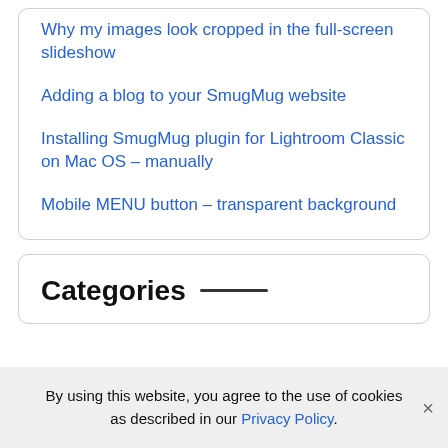Why my images look cropped in the full-screen slideshow
Adding a blog to your SmugMug website
Installing SmugMug plugin for Lightroom Classic on Mac OS – manually
Mobile MENU button – transparent background
Categories
By using this website, you agree to the use of cookies as described in our Privacy Policy.